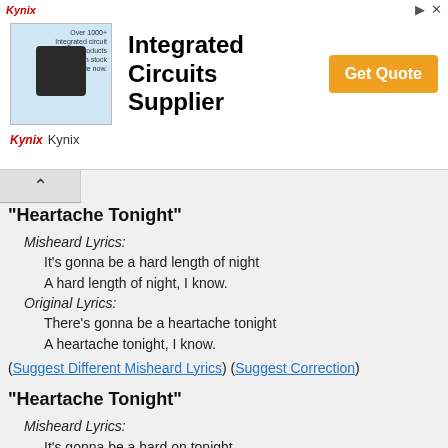[Figure (other): Kynix Integrated Circuits Supplier advertisement banner with chip image, 'Get Quote' button, and Kynix branding]
"Heartache Tonight"
Misheard Lyrics:
It's gonna be a hard length of night
A hard length of night, I know.
Original Lyrics:
There's gonna be a heartache tonight
A heartache tonight, I know.
(Suggest Different Misheard Lyrics) (Suggest Correction)
"Heartache Tonight"
Misheard Lyrics:
It's gonna be a hard on tonight.
Original Lyrics:
There's gonna be a heartache tonight.
(Suggest Different Misheard Lyrics) (Suggest Correction)